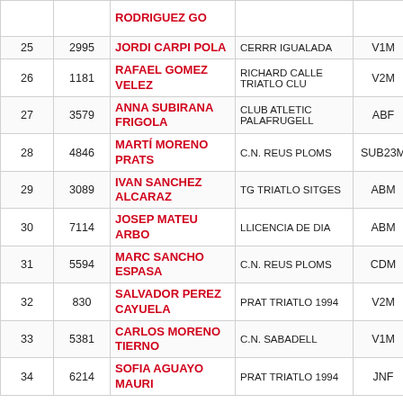| Rank | Bib | Name | Club | Cat | Time |  |
| --- | --- | --- | --- | --- | --- | --- |
|  |  | RODRIGUEZ GO |  |  |  |  |
| 25 | 2995 | JORDI CARPI POLA | CERRR IGUALADA | V1M | 01:15:23 | 2 |
| 26 | 1181 | RAFAEL GOMEZ VELEZ | RICHARD CALLE TRIATLO CLU | V2M | 01:15:26 | 4 |
| 27 | 3579 | ANNA SUBIRANA FRIGOLA | CLUB ATLETIC PALAFRUGELL | ABF | 01:15:31 | 5 |
| 28 | 4846 | MARTÍ MORENO PRATS | C.N. REUS PLOMS | SUB23M | 01:15:40 | 1 |
| 29 | 3089 | IVAN SANCHEZ ALCARAZ | TG TRIATLO SITGES | ABM | 01:15:53 | 1 |
| 30 | 7114 | JOSEP MATEU ARBO | LLICENCIA DE DIA | ABM | 01:15:57 |  |
| 31 | 5594 | MARC SANCHO ESPASA | C.N. REUS PLOMS | CDM | 01:16:11 | 5 |
| 32 | 830 | SALVADOR PEREZ CAYUELA | PRAT TRIATLO 1994 | V2M | 01:16:19 | 4 |
| 33 | 5381 | CARLOS MORENO TIERNO | C.N. SABADELL | V1M | 01:16:27 |  |
| 34 | 6214 | SOFIA AGUAYO MAURI | PRAT TRIATLO 1994 | JNF | 01:16:44 | 4 |